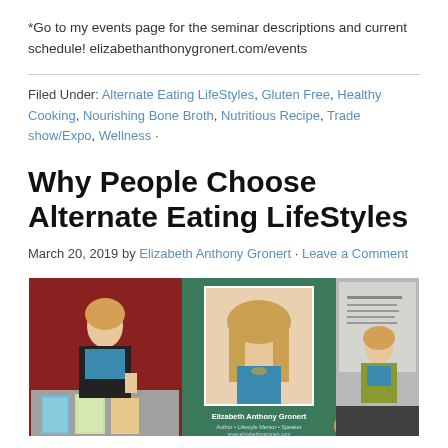*Go to my events page for the seminar descriptions and current schedule! elizabethanthonygronert.com/events
Filed Under: Alternate Eating LifeStyles, Gluten Free, Healthy Cooking, Nourishing Bone Broth, Nutritious Recipe, Trade show/Expo, Wellness ·
Why People Choose Alternate Eating LifeStyles
March 20, 2019 by Elizabeth Anthony Gronert · Leave a Comment
[Figure (photo): Three-panel photo collage showing Elizabeth Anthony Gronert: left panel at a trade show with red backdrop and books on table, center panel a portrait on green background with name text 'Elizabeth Anthony Gronert, Author • Lifestyle Mentor • Speaker', right panel speaking at a seminar with audience.]